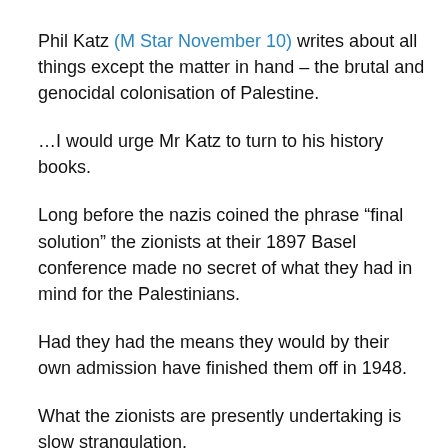Phil Katz (M Star November 10) writes about all things except the matter in hand – the brutal and genocidal colonisation of Palestine.
…I would urge Mr Katz to turn to his history books.
Long before the nazis coined the phrase “final solution” the zionists at their 1897 Basel conference made no secret of what they had in mind for the Palestinians.
Had they had the means they would by their own admission have finished them off in 1948.
What the zionists are presently undertaking is slow strangulation.
…Finally Mr Katz obviously has a problem with the term “final solution.”